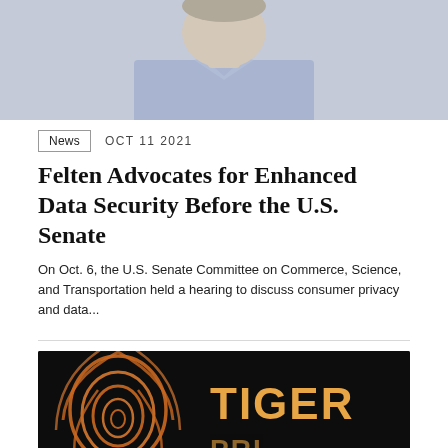[Figure (photo): Partial headshot photo of a person in a light blue shirt against a grey background, cropped at the shoulders]
News   OCT 11 2021
Felten Advocates for Enhanced Data Security Before the U.S. Senate
On Oct. 6, the U.S. Senate Committee on Commerce, Science, and Transportation held a hearing to discuss consumer privacy and data...
[Figure (photo): Dark background image showing an orange fingerprint graphic on the left and the word TIGER in large orange/gold letters on the right]